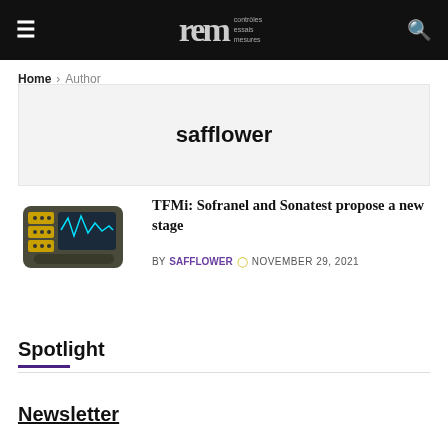REM — contrôles essais mesures
Home > Author
safflower
[Figure (photo): Photo of a portable ultrasonic testing device (handheld flaw detector with screen showing waveforms and yellow keypad)]
TFMi: Sofranel and Sonatest propose a new stage
BY SAFFLOWER   NOVEMBER 29, 2021
Spotlight
Newsletter